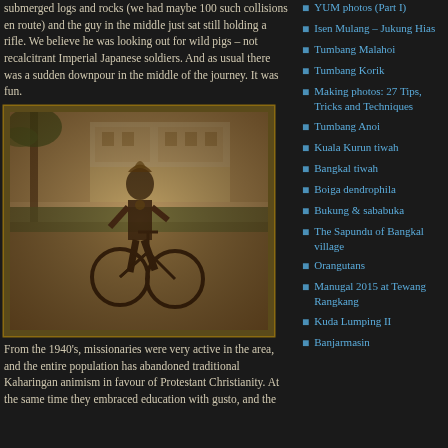submerged logs and rocks (we had maybe 100 such collisions en route) and the guy in the middle just sat still holding a rifle. We believe he was looking out for wild pigs – not recalcitrant Imperial Japanese soldiers. And as usual there was a sudden downpour in the middle of the journey. It was fun.
[Figure (photo): Sepia-toned framed photograph of a person in traditional dress posing with a bicycle in front of a colonial-style building, circa 1940s.]
From the 1940's, missionaries were very active in the area, and the entire population has abandoned traditional Kaharingan animism in favour of Protestant Christianity. At the same time they embraced education with gusto, and the
YUM photos (Part I)
Isen Mulang – Jukung Hias
Tumbang Malahoi
Tumbang Korik
Making photos: 27 Tips, Tricks and Techniques
Tumbang Anoi
Kuala Kurun tiwah
Bangkal tiwah
Boiga dendrophila
Bukung & sababuka
The Sapundu of Bangkal village
Orangutans
Manugal 2015 at Tewang Rangkang
Kuda Lumping II
Banjarmasin